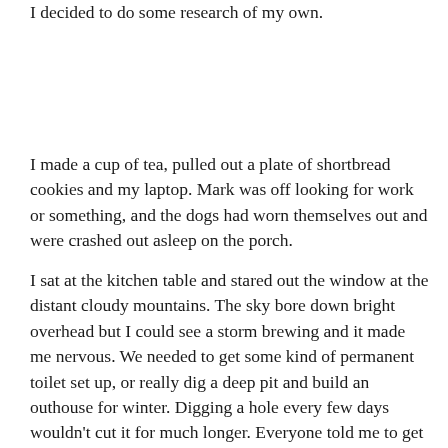I decided to do some research of my own.
I made a cup of tea, pulled out a plate of shortbread cookies and my laptop. Mark was off looking for work or something, and the dogs had worn themselves out and were crashed out asleep on the porch.
I sat at the kitchen table and stared out the window at the distant cloudy mountains. The sky bore down bright overhead but I could see a storm brewing and it made me nervous. We needed to get some kind of permanent toilet set up, or really dig a deep pit and build an outhouse for winter. Digging a hole every few days wouldn't cut it for much longer. Everyone told me to get ready for winter; this was our last call for warm days. I sipped the tea and waited. Old computers do it slowly, wake up that is. The cookies were almost gone by the time the Internet kicked in and the clock shows to for the tree search for